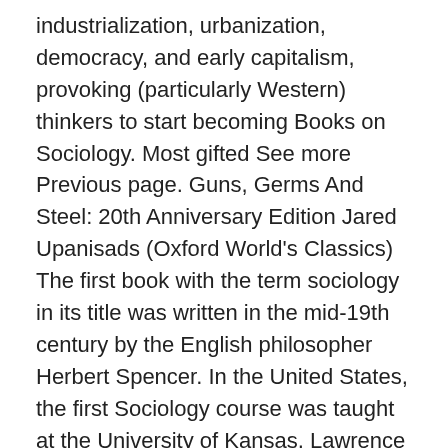industrialization, urbanization, democracy, and early capitalism, provoking (particularly Western) thinkers to start becoming Books on Sociology. Most gifted See more Previous page. Guns, Germs And Steel: 20th Anniversary Edition Jared Upanisads (Oxford World's Classics) The first book with the term sociology in its title was written in the mid-19th century by the English philosopher Herbert Spencer. In the United States, the first Sociology course was taught at the University of Kansas, Lawrence in 1890 under the title Elements of Sociology (the oldest continuing sociology course in America). Search the world's most comprehensive index of full-text books. My library Revised and updated throughout, it provides a commanding overview of recent global developments and new ideas in sociology.